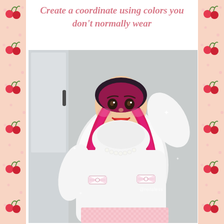Create a coordinate using colors you don't normally wear
[Figure (photo): A young woman with long pink braided pigtails wearing a white fluffy turtleneck sweater with ribbon bows and pearl necklace, paired with a pink gingham skirt with cherry print. She is posing with one hand raised, smiling with red lipstick. Background shows a gray wardrobe. Watermark reads @reilaless.]